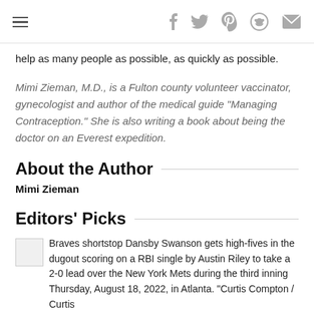Navigation and social share icons (hamburger menu, facebook, twitter, pinterest, reddit, email)
help as many people as possible, as quickly as possible.
Mimi Zieman, M.D., is a Fulton county volunteer vaccinator, gynecologist and author of the medical guide “Managing Contraception.” She is also writing a book about being the doctor on an Everest expedition.
About the Author
Mimi Zieman
Editors' Picks
Braves shortstop Dansby Swanson gets high-fives in the dugout scoring on a RBI single by Austin Riley to take a 2-0 lead over the New York Mets during the third inning Thursday, August 18, 2022, in Atlanta. “Curtis Compton / Curtis